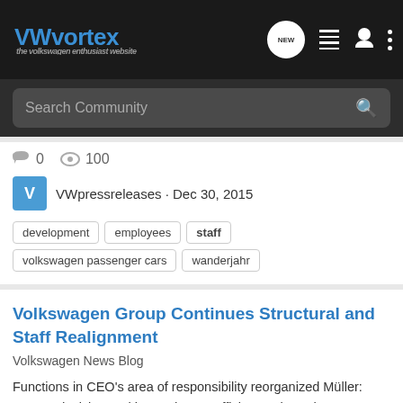VWvortex - the volkswagen enthusiast website
0  100
VWpressreleases · Dec 30, 2015
development  employees  staff  volkswagen passenger cars  wanderjahr
Volkswagen Group Continues Structural and Staff Realignment
Volkswagen News Blog
Functions in CEO's area of responsibility reorganized Müller: "Faster decision-making and more efficient action" The Volkswagen Group is becoming more streamlined and speeding up its internal decision-making process. To that end, functions in the area of responsibility headed by CEO